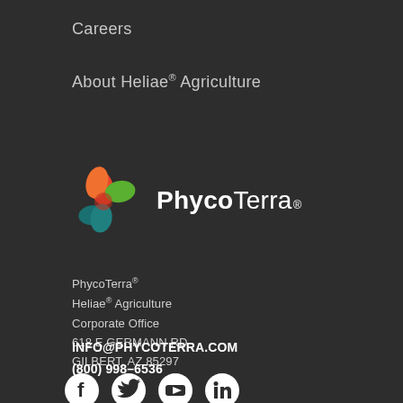Careers
About Heliae® Agriculture
[Figure (logo): PhycoTerra logo with colorful pinwheel-like icon (orange, red, green, teal petals) and text 'PhycoTerra' with registered trademark symbol]
PhycoTerra®
Heliae® Agriculture
Corporate Office
618 E GERMANN RD
GILBERT, AZ 85297
INFO@PHYCOTERRA.COM
(800) 998-6536
[Figure (illustration): Social media icons: Facebook, Twitter, YouTube, LinkedIn — white circles with dark icons]